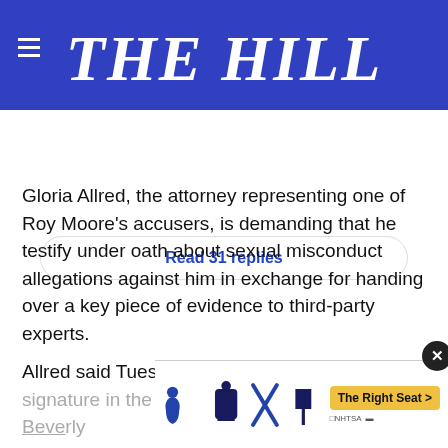THE HILL
Read 31 replies
Gloria Allred, the attorney representing one of Roy Moore’s accusers, is demanding that he testify under oath about sexual misconduct allegations against him in exchange for handing over a key piece of evidence to third-party experts.
Allred said Tuesday she will only have Moore’s signature in the 1977 yearbook of accuser Beverly... Moore agreed... occurred
[Figure (screenshot): NHTSA car seat safety advertisement overlay showing car seat icons and 'The Right Seat >' button with NHTSA logo, partially covering article text. A close (X) button appears at top right of the ad.]